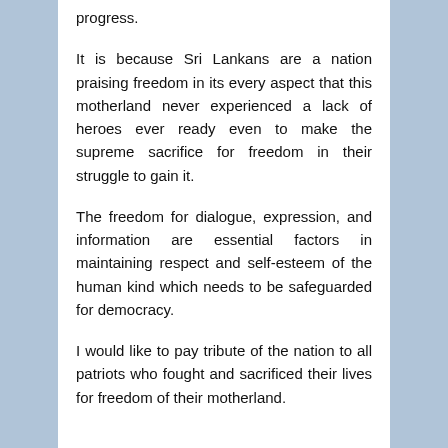progress.
It is because Sri Lankans are a nation praising freedom in its every aspect that this motherland never experienced a lack of heroes ever ready even to make the supreme sacrifice for freedom in their struggle to gain it.
The freedom for dialogue, expression, and information are essential factors in maintaining respect and self-esteem of the human kind which needs to be safeguarded for democracy.
I would like to pay tribute of the nation to all patriots who fought and sacrificed their lives for freedom of their motherland.